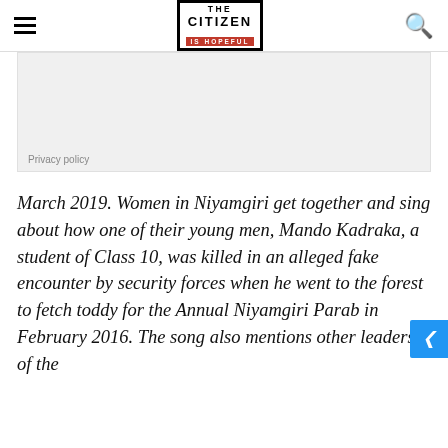THE CITIZEN IS HOPEFUL
[Figure (other): Advertisement placeholder box with light gray background]
Privacy policy
March 2019. Women in Niyamgiri get together and sing about how one of their young men, Mando Kadraka, a student of Class 10, was killed in an alleged fake encounter by security forces when he went to the forest to fetch toddy for the Annual Niyamgiri Parab in February 2016. The song also mentions other leaders of the